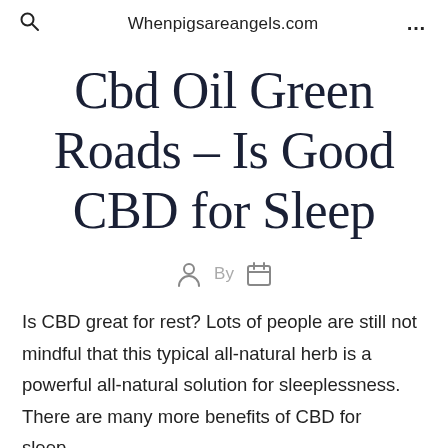Whenpigsareangels.com
Cbd Oil Green Roads – Is Good CBD for Sleep
By
Is CBD great for rest? Lots of people are still not mindful that this typical all-natural herb is a powerful all-natural solution for sleeplessness. There are many more benefits of CBD for sleep...